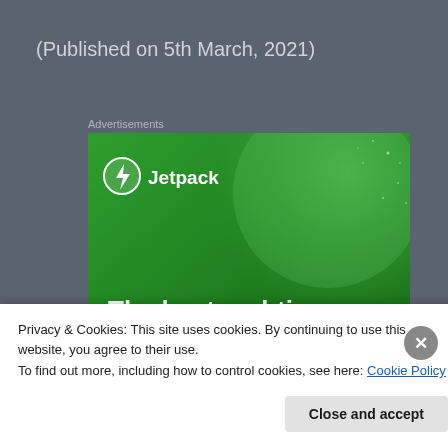(Published on 5th March, 2021)
Advertisements
[Figure (illustration): Jetpack advertisement banner with green background, Jetpack logo with lightning bolt icon, and text 'The best real-time WordPress backup plugin']
Privacy & Cookies: This site uses cookies. By continuing to use this website, you agree to their use.
To find out more, including how to control cookies, see here: Cookie Policy
Close and accept